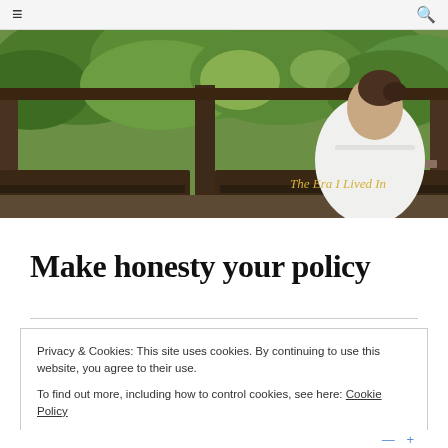≡  🔍
[Figure (photo): A woman with dark hair in a bun, wearing a white top, sitting on a wooden bench viewed from behind, with lush green foliage visible through an open structure. Blog title 'The Era I Lived In' is overlaid in gold italic text.]
Make honesty your policy
Privacy & Cookies: This site uses cookies. By continuing to use this website, you agree to their use.
To find out more, including how to control cookies, see here: Cookie Policy
Close and accept